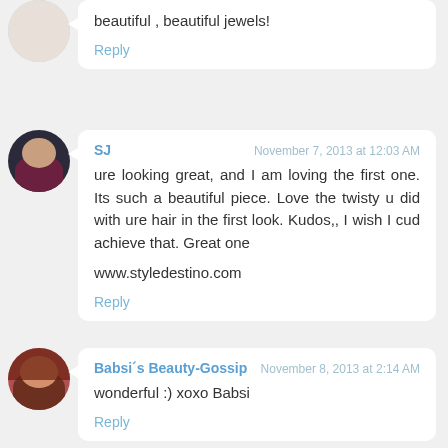beautiful , beautiful jewels!
Reply
SJ
November 7, 2013 at 12:03 AM
ure looking great, and I am loving the first one. Its such a beautiful piece. Love the twisty u did with ure hair in the first look. Kudos,, I wish I cud achieve that. Great one
www.styledestino.com
Reply
Babsi´s Beauty-Gossip
November 8, 2013 at 2:14 AM
wonderful :) xoxo Babsi
Reply